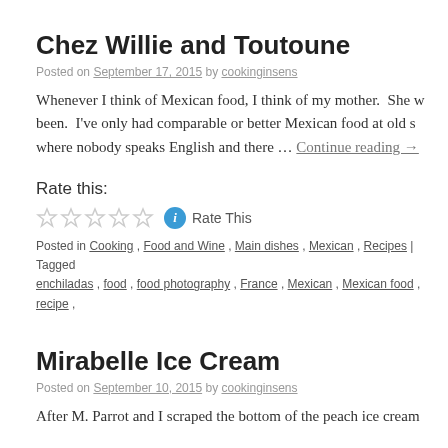Chez Willie and Toutoune
Posted on September 17, 2015 by cookinginsens
Whenever I think of Mexican food, I think of my mother.  She w been.  I've only had comparable or better Mexican food at old s where nobody speaks English and there … Continue reading →
Rate this:
Rate This
Posted in Cooking , Food and Wine , Main dishes , Mexican , Recipes | Tagged enchiladas , food , food photography , France , Mexican , Mexican food , recipe ,
Mirabelle Ice Cream
Posted on September 10, 2015 by cookinginsens
After M. Parrot and I scraped the bottom of the peach ice cream